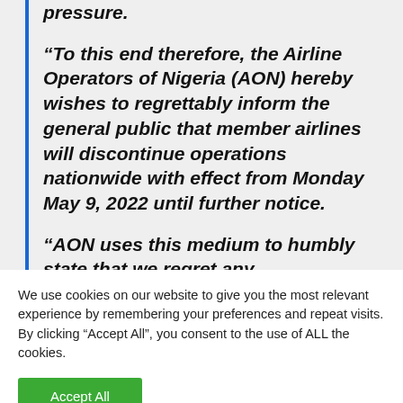pressure.
“To this end therefore, the Airline Operators of Nigeria (AON) hereby wishes to regrettably inform the general public that member airlines will discontinue operations nationwide with effect from Monday May 9, 2022 until further notice.
“AON uses this medium to humbly state that we regret any
We use cookies on our website to give you the most relevant experience by remembering your preferences and repeat visits. By clicking “Accept All”, you consent to the use of ALL the cookies.